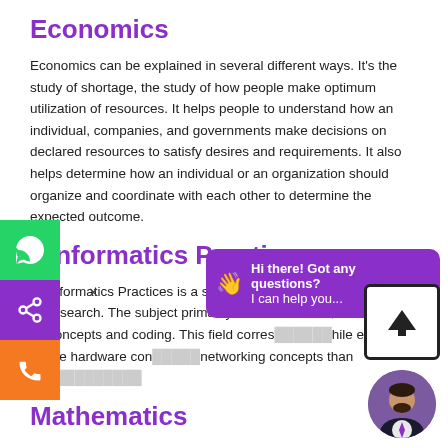Economics
Economics can be explained in several different ways. It's the study of shortage, the study of how people make optimum utilization of resources. It helps people to understand how an individual, companies, and governments make decisions on declared resources to satisfy desires and requirements. It also helps determine how an individual or an organization should organize and coordinate with each other to determine the expected outcome.
Informatics Practices
Informatics Practices is a stream of software-related research. The subject primarily covers software, networking concepts and coding. This field corres[...]hile excluding the hardware con[...]networking concepts than o[...] Computer Science.
Mathematics
Mathematics is an important part of Commerce as all the methods of economics depend on numbers. With a basic knowledge of mathematics, students will